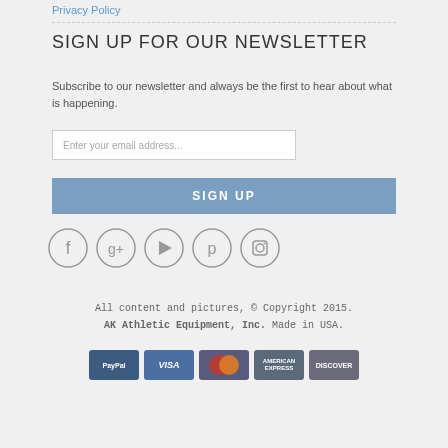Privacy Policy
SIGN UP FOR OUR NEWSLETTER
Subscribe to our newsletter and always be the first to hear about what is happening.
Enter your email address...
SIGN UP
[Figure (illustration): Row of five social media circular icon buttons: Facebook, Google+, YouTube, Pinterest, Instagram]
All content and pictures, © Copyright 2015. AK Athletic Equipment, Inc. Made in USA.
[Figure (infographic): Row of payment method icons: PayPal, VISA, Mastercard, American Express, Discover]